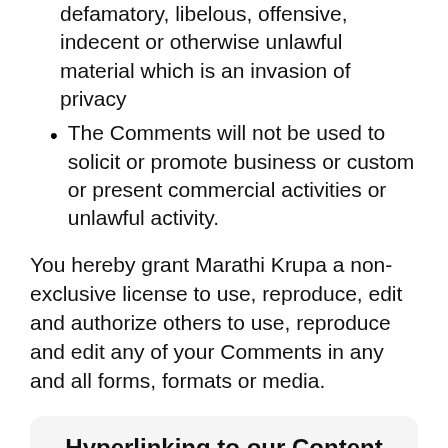defamatory, libelous, offensive, indecent or otherwise unlawful material which is an invasion of privacy
The Comments will not be used to solicit or promote business or custom or present commercial activities or unlawful activity.
You hereby grant Marathi Krupa a non-exclusive license to use, reproduce, edit and authorize others to use, reproduce and edit any of your Comments in any and all forms, formats or media.
Hyperlinking to our Content
The following organizations may link to our Website without prior written approval: